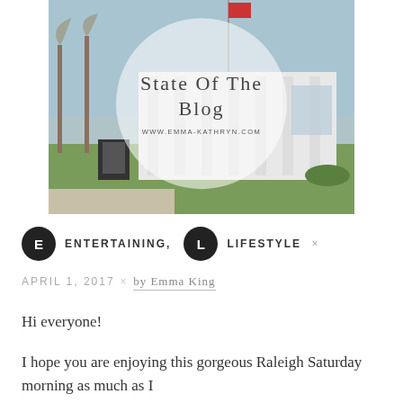[Figure (photo): Photograph of a government building with columns and trees, used as blog post header image with circle overlay containing blog title text and website URL]
State of the Blog
www.Emma-Kathryn.com
E  ENTERTAINING,
L  LIFESTYLE ×
APRIL 1, 2017 × by Emma King
Hi everyone!
I hope you are enjoying this gorgeous Raleigh Saturday morning as much as I